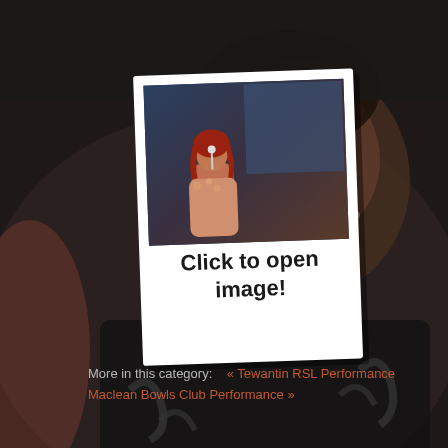[Figure (photo): Dark background photo of a smiling man in a black patterned shirt; a polaroid-style photo overlaid in the center showing a female performer singing on stage with a microphone, with text 'Click to open image!' on the white polaroid border below the image.]
Click to open image!
More in this category:   « Tewantin RSL Performance
Maclean Bowls Club Performance »